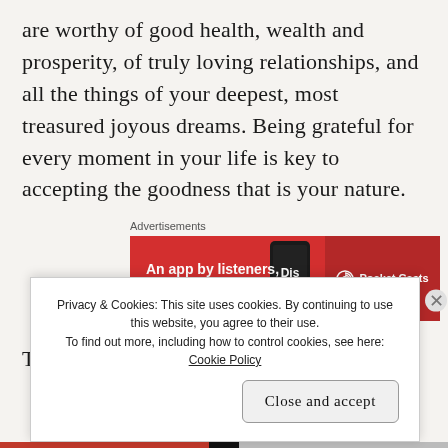are worthy of good health, wealth and prosperity, of truly loving relationships, and all the things of your deepest, most treasured joyous dreams. Being grateful for every moment in your life is key to accepting the goodness that is your nature.
[Figure (other): Advertisement banner for Pocket Casts app: red background with text 'An app by listeners, for listeners.' and Pocket Casts logo on the right, with a phone image in the center.]
T...
Privacy & Cookies: This site uses cookies. By continuing to use this website, you agree to their use. To find out more, including how to control cookies, see here: Cookie Policy